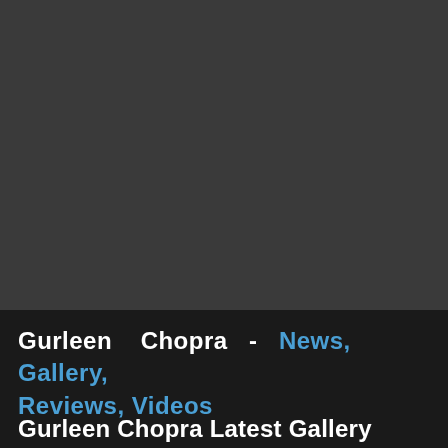[Figure (photo): Dark gray background area occupying the upper portion of the page, likely a partially loaded or dark image area.]
Gurleen Chopra - News, Gallery, Reviews, Videos
Gurleen Chopra Latest Gallery